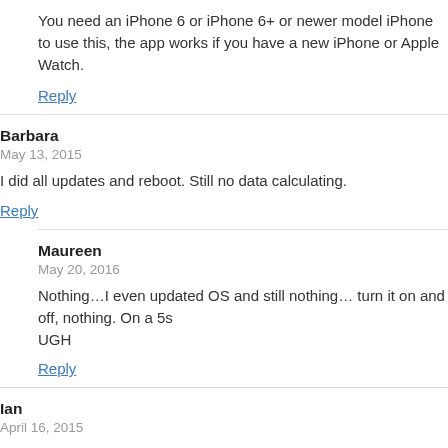You need an iPhone 6 or iPhone 6+ or newer model iPhone to use this, the app works if you have a new iPhone or Apple Watch.
Reply
Barbara
May 13, 2015
I did all updates and reboot. Still no data calculating.
Reply
Maureen
May 20, 2016
Nothing…I even updated OS and still nothing… turn it on and off, nothing. On a 5s
UGH
Reply
Ian
April 16, 2015
Bugs are not normal. It isn't about bashing Apple. It